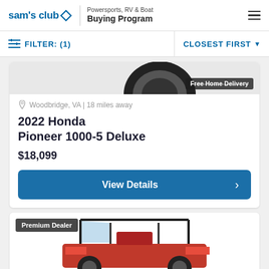sam's club | Powersports, RV & Boat Buying Program
FILTER: (1)   CLOSEST FIRST
[Figure (screenshot): Partial view of a vehicle tire/wheel at the top of a product card, with a 'Free Home Delivery' badge overlay]
Woodbridge, VA | 18 miles away
2022 Honda Pioneer 1000-5 Deluxe
$18,099
View Details
[Figure (screenshot): Partial view of the top of a second vehicle listing card with 'Premium Dealer' badge and a red/black UTV (side-by-side) vehicle image]